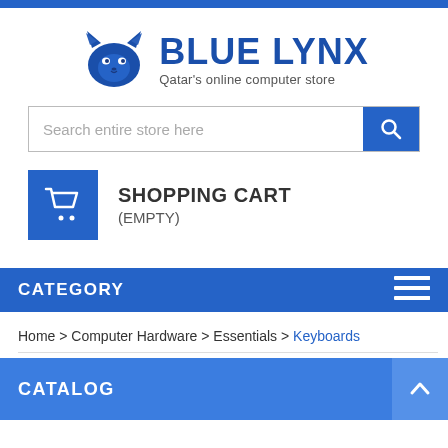[Figure (logo): Blue Lynx logo with a blue lynx animal icon and text 'BLUE LYNX - Qatar's online computer store']
[Figure (screenshot): Search bar with placeholder text 'Search entire store here' and a blue search button with magnifying glass icon]
[Figure (screenshot): Shopping cart section with blue cart icon box showing cart symbol, text 'SHOPPING CART' and '(EMPTY)']
CATEGORY
Home > Computer Hardware > Essentials > Keyboards
CATALOG